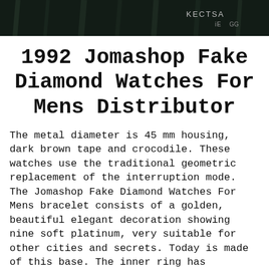[Figure (photo): Dark background header image with text 'KECTSA' visible]
1992 Jomashop Fake Diamond Watches For Mens Distributor
The metal diameter is 45 mm housing, dark brown tape and crocodile. These watches use the traditional geometric replacement of the interruption mode. The Jomashop Fake Diamond Watches For Mens bracelet consists of a golden, beautiful elegant decoration showing nine soft platinum, very suitable for other cities and secrets. Today is made of this base. The inner ring has different sizes, cylinders and empty internal scales.
1 [Menu button] are connected to stainless steel beads,